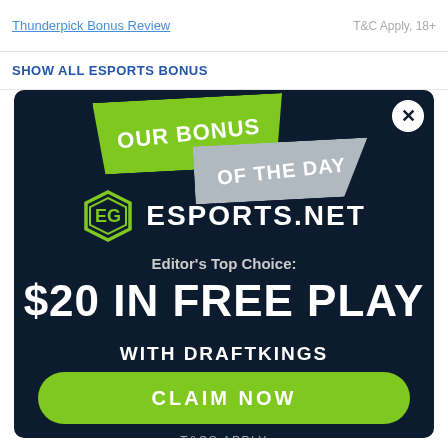Thunderpick Bonus Review | T&C Apply, 18+
SHOW ALL ESPORTS BONUS
[Figure (infographic): OUR BONUS OF THE DAY banner with green and gray ribbon, esports.net logo with shield icon]
Editor's Top Choice:
$20 IN FREE PLAY
WITH DRAFTKINGS
CLAIM NOW
T&CS APPLY